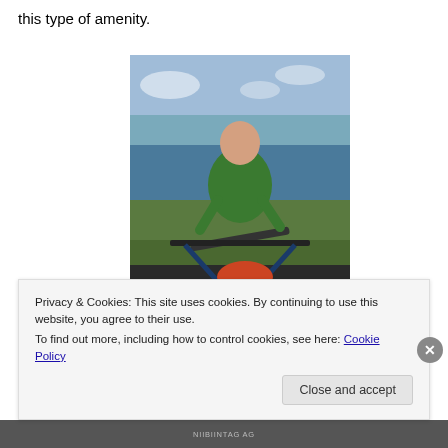this type of amenity.
[Figure (photo): A man in a green jacket standing with bicycles near a coastal cliff, with the ocean and sky in the background.]
Privacy & Cookies: This site uses cookies. By continuing to use this website, you agree to their use.
To find out more, including how to control cookies, see here: Cookie Policy
Close and accept
NIIBIINTAG AG